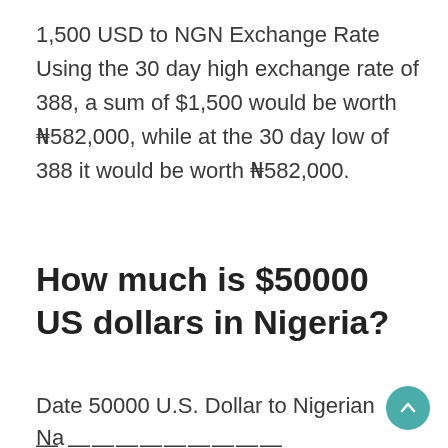1,500 USD to NGN Exchange Rate Using the 30 day high exchange rate of 388, a sum of $1,500 would be worth ₦582,000, while at the 30 day low of 388 it would be worth ₦582,000.
How much is $50000 US dollars in Nigeria?
Date 50000 U.S. Dollar to Nigerian Na—